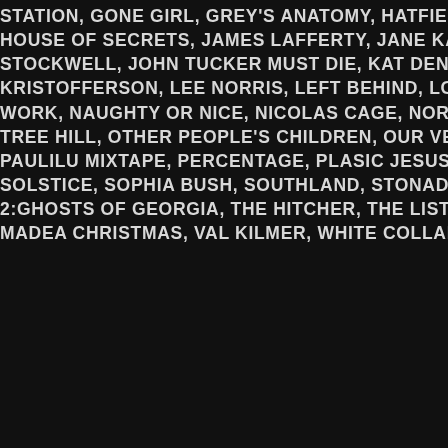STATION, GONE GIRL, GREY'S ANATOMY, HATFIELDS & MCCOYS, HILARIE BURTO, HOUSE OF SECRETS, JAMES LAFFERTY, JANE KACZMAREK, JENNIFER HUDSON, JE, STOCKWELL, JOHN TUCKER MUST DIE, KAT DENNINGS, KATTEE SACKHOFF, KID C, KRISTOFFERSON, LEE NORRIS, LEFT BEHIND, LOST ON PURPOSE, MACKENZIE F, WORK, NAUGHTY OR NICE, NICOLAS CAGE, NORMAL ADOLESCENT BEHAVIOU, TREE HILL, OTHER PEOPLE'S CHILDREN, OUR VERY OWN, PARTNERS, PAUL JOHA, PAULILU MIXTAPE, PERCENTAGE, PLASIC JESUS, Q, QUEEN LATIFAH, SKEET ULRI, SOLSTICE, SOPHIA BUSH, SOUTHLAND, STONADOS, THE DEMPSEY SISTERS, TH, 2:GHOSTS OF GEORGIA, THE HITCHER, THE LIST, THE SECRET LIFE OF BEES, TW, MADEA CHRISTMAS, VAL KILMER, WHITE COLLAR, WHO CAN I RUN TO, ZODIAC